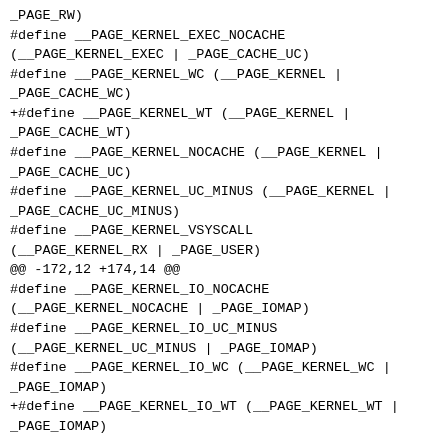_PAGE_RW)
#define __PAGE_KERNEL_EXEC_NOCACHE (__PAGE_KERNEL_EXEC | _PAGE_CACHE_UC)
#define __PAGE_KERNEL_WC (__PAGE_KERNEL | _PAGE_CACHE_WC)
+#define __PAGE_KERNEL_WT (__PAGE_KERNEL | _PAGE_CACHE_WT)
#define __PAGE_KERNEL_NOCACHE (__PAGE_KERNEL | _PAGE_CACHE_UC)
#define __PAGE_KERNEL_UC_MINUS (__PAGE_KERNEL | _PAGE_CACHE_UC_MINUS)
#define __PAGE_KERNEL_VSYSCALL (__PAGE_KERNEL_RX | _PAGE_USER)
@@ -172,12 +174,14 @@
#define __PAGE_KERNEL_IO_NOCACHE (__PAGE_KERNEL_NOCACHE | _PAGE_IOMAP)
#define __PAGE_KERNEL_IO_UC_MINUS (__PAGE_KERNEL_UC_MINUS | _PAGE_IOMAP)
#define __PAGE_KERNEL_IO_WC (__PAGE_KERNEL_WC | _PAGE_IOMAP)
+#define __PAGE_KERNEL_IO_WT (__PAGE_KERNEL_WT | _PAGE_IOMAP)

#define PAGE_KERNEL __pgprot(__PAGE_KERNEL)
#define PAGE_KERNEL_RO __pgprot(__PAGE_KERNEL_RO)
#define PAGE_KERNEL_EXEC